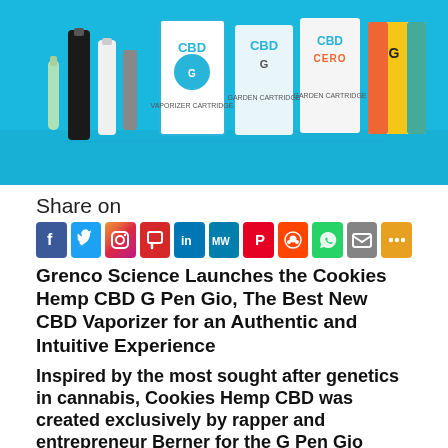[Figure (photo): CBD vaporizer products including pens and cartridge boxes arranged on a blue background]
Share on
[Figure (infographic): Row of social media share buttons: Facebook, Twitter, Instagram, Parler, LinkedIn, MeWe, Pinterest, Reddit, WhatsApp, Email, More]
Grenco Science Launches the Cookies Hemp CBD G Pen Gio, The Best New CBD Vaporizer for an Authentic and Intuitive Experience
Inspired by the most sought after genetics in cannabis, Cookies Hemp CBD was created exclusively by rapper and entrepreneur Berner for the G Pen Gio
Grenco Science, maker of G Pen and the leader in advanced technology cannabis